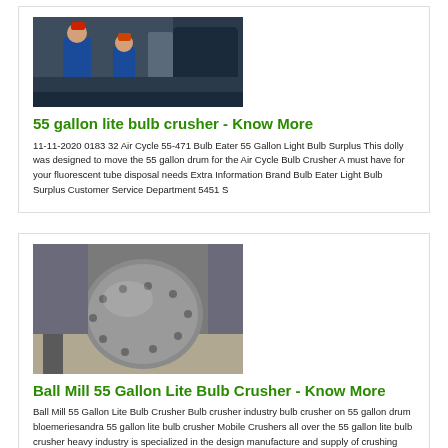[Figure (photo): Industrial scene showing workers in blue uniforms and helmets operating machinery inside a facility]
55 gallon lite bulb crusher - Know More
11-11-2020 0183 32 Air Cycle 55-471 Bulb Eater 55 Gallon Light Bulb Surplus This dolly was designed to move the 55 gallon drum for the Air Cycle Bulb Crusher A must have for your fluorescent tube disposal needs Extra Information Brand Bulb Eater Light Bulb Surplus Customer Service Department 5451 S
[Figure (photo): Large industrial ball mill or crusher machine, grey metallic equipment on a factory floor]
Ball Mill 55 Gallon Lite Bulb Crusher - Know More
Ball Mill 55 Gallon Lite Bulb Crusher Bulb crusher industry bulb crusher on 55 gallon drum bloemeriesandra 55 gallon lite bulb crusher Mobile Crushers all over the 55 gallon lite bulb crusher heavy industry is specialized in the design manufacture and supply of crushing equipment used in mining industry The